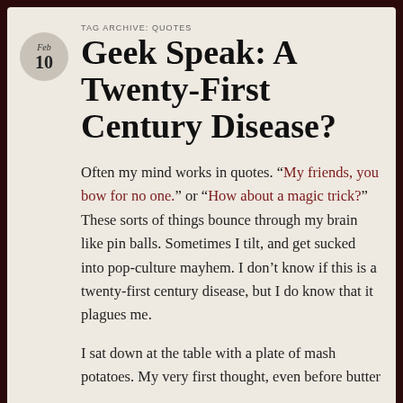Feb 10
TAG ARCHIVE: QUOTES
Geek Speak: A Twenty-First Century Disease?
Often my mind works in quotes. “My friends, you bow for no one.” or “How about a magic trick?” These sorts of things bounce through my brain like pin balls. Sometimes I tilt, and get sucked into pop-culture mayhem. I don’t know if this is a twenty-first century disease, but I do know that it plagues me.
I sat down at the table with a plate of mash potatoes. My very first thought, even before butter